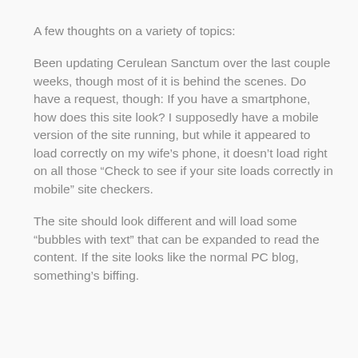A few thoughts on a variety of topics:
Been updating Cerulean Sanctum over the last couple weeks, though most of it is behind the scenes. Do have a request, though: If you have a smartphone, how does this site look? I supposedly have a mobile version of the site running, but while it appeared to load correctly on my wife’s phone, it doesn’t load right on all those “Check to see if your site loads correctly in mobile” site checkers.
The site should look different and will load some “bubbles with text” that can be expanded to read the content. If the site looks like the normal PC blog, something’s biffing.